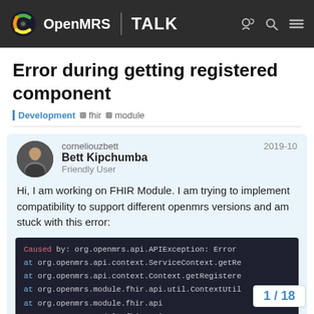OpenMRS | TALK
Error during getting registered component
Development  fhir  module
corneliouzbett  Bett Kipchumba  Friendly User  2019-10
Hi, I am working on FHIR Module. I am trying to implement compatibility to support different openmrs versions and am stuck with this error:
Caused by: org.openmrs.api.APIException: Error
at org.openmrs.api.context.ServiceContext.getRe
at org.openmrs.api.context.Context.getRegistere
at org.openmrs.module.fhir.api.util.ContextUtil
at org.openmrs.module.fhir.api
at org.openmrs.module.fhir.api
1 / 18